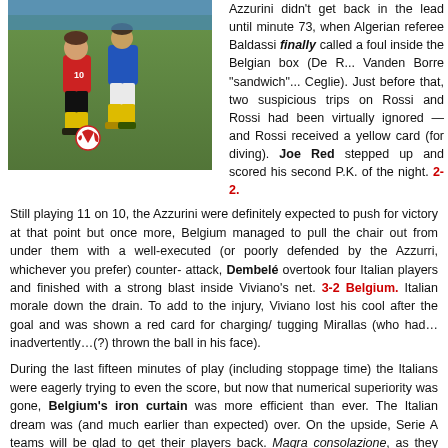[Figure (photo): Two soccer players competing for the ball during a match — one in red (Belgium, #10) and one in blue (Italy/Azzurri). A red and white soccer ball is on the ground.]
Azzurini didn't get back in the lead until minute 73, when Algerian referee Baldassi finally called a foul inside the Belgian box (De R... Vanden Borre "sandwich"... Ceglie). Just before that, two suspicious trips on Rossi and Rossi had been virtually ignored — and Rossi received a yellow card (for diving). Joe Red stepped up and scored his second P.K. of the night. 2-2.
Still playing 11 on 10, the Azzurini were definitely expected to push for victory at that point but once more, Belgium managed to pull the chair out from under them with a well-executed (or poorly defended by the Azzurri, whichever you prefer) counter-attack, Dembelé overtook four Italian players and finished with a strong blast inside Viviano's net. 3-2 Belgium. Italian morale down the drain. To add to the injury, Viviano lost his cool after the goal and was shown a red card for charging/tugging Mirallas (who had… inadvertently…(?) thrown the ball in his face).
During the last fifteen minutes of play (including stoppage time) the Italians were eagerly trying to even the score, but now that numerical superiority was gone, Belgium's iron curtain was more efficient than ever. The Italian dream was (and much earlier than expected) over. On the upside, Serie A teams will be glad to get their players back. Magra consolazione, as they say…
[Figure (photo): Bottom portion of another soccer match photo, dark/nighttime stadium setting.]